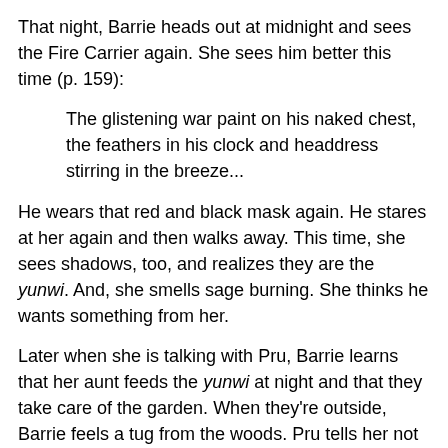That night, Barrie heads out at midnight and sees the Fire Carrier again. She sees him better this time (p. 159):
The glistening war paint on his naked chest, the feathers in his clock and headdress stirring in the breeze...
He wears that red and black mask again. He stares at her again and then walks away. This time, she sees shadows, too, and realizes they are the yunwi. And, she smells sage burning. She thinks he wants something from her.
Later when she is talking with Pru, Barrie learns that her aunt feeds the yunwi at night and that they take care of the garden. When they're outside, Barrie feels a tug from the woods. Pru tells her not to go there.
On page 273 she goes outside again at midnight. This time she's in socks. As she runs about, she gets cuts from gravel and shells on the path. She slips and cuts her palm, too. She washes the blood of her her palms in a water fountain. It seems her blood runs in ribbons through the water, and that